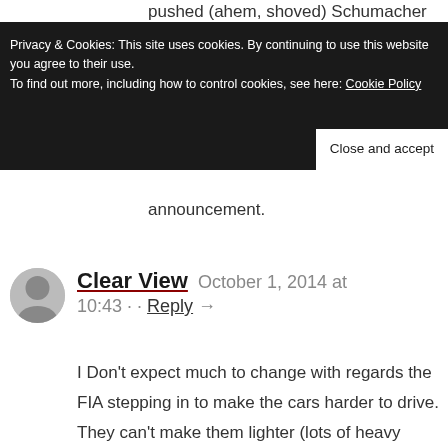pushed (ahem, shoved) Schumacher into
Privacy & Cookies: This site uses cookies. By continuing to use this website you agree to their use.
To find out more, including how to control cookies, see here: Cookie Policy
Close and accept
announcement.
Clear View   October 1, 2014 at 10:43 · ·  Reply →
I Don't expect much to change with regards the FIA stepping in to make the cars harder to drive. They can't make them lighter (lots of heavy electrical elements and teams have